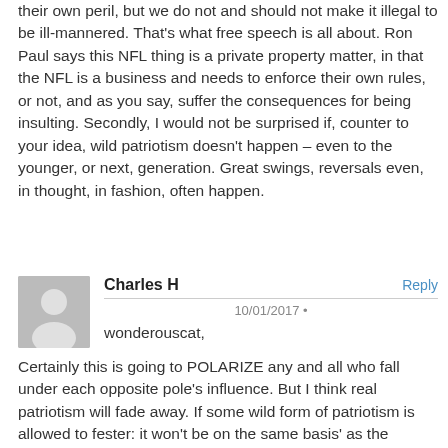their own peril, but we do not and should not make it illegal to be ill-mannered. That's what free speech is all about. Ron Paul says this NFL thing is a private property matter, in that the NFL is a business and needs to enforce their own rules, or not, and as you say, suffer the consequences for being insulting. Secondly, I would not be surprised if, counter to your idea, wild patriotism doesn't happen – even to the younger, or next, generation. Great swings, reversals even, in thought, in fashion, often happen.
Charles H
Reply
10/01/2017 •
wonderouscat,
Certainly this is going to POLARIZE any and all who fall under each opposite pole's influence. But I think real patriotism will fade away. If some wild form of patriotism is allowed to fester: it won't be on the same basis' as the minority holds now; but mean